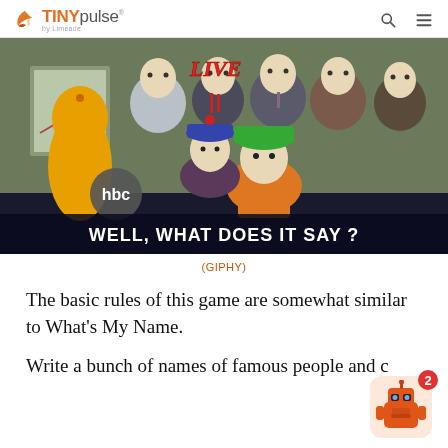TINYpulse by Limeade
[Figure (screenshot): South Park animated scene screenshot with characters Stan and Kyle in front of a crowd of suited adults in a broadcast studio setting. Text overlay reads 'WELL, WHAT DOES IT SAY?' and 'hbc' logo visible. 'LIVE' label in red italic at top left.]
(GIPHY)
The basic rules of this game are somewhat similar to What's My Name.
Write a bunch of names of famous people and c